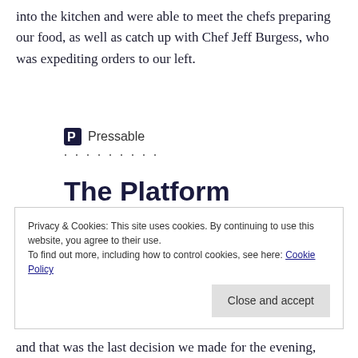into the kitchen and were able to meet the chefs preparing our food, as well as catch up with Chef Jeff Burgess, who was expediting orders to our left.
[Figure (logo): Pressable logo with icon and dotted separator]
The Platform Where WordPress Works Best
Privacy & Cookies: This site uses cookies. By continuing to use this website, you agree to their use.
To find out more, including how to control cookies, see here: Cookie Policy
[Close and accept button]
and that was the last decision we made for the evening,